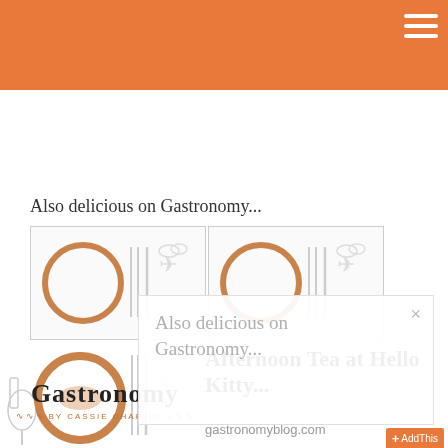Gastronomy blog header with orange banner
Also delicious on Gastronomy...
[Figure (illustration): Two thumbnail images of food/travel illustration showing plates, cutlery, and airplanes in brown outline style]
[Figure (illustration): Larger food illustration panel showing plates, cutlery, airplane, bowl of food in outline style]
Also delicious on Gastronomy...
[Figure (logo): Gastronomy blog logo with stylized text and squiggle decoration, BY CASSIE CHAPLIN byline]
Afternoon Tea at Hello Kitty...
gastronomyblog.com
AddThis